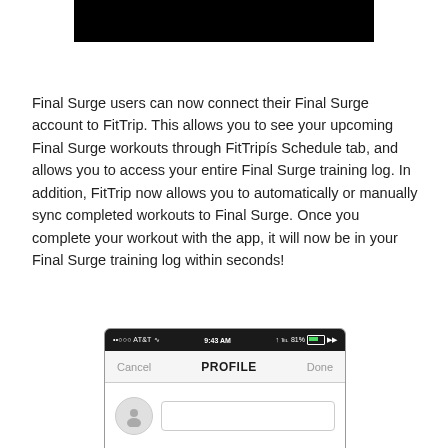[Figure (screenshot): Black bar at top of page, partially cropped screenshot]
Final Surge users can now connect their Final Surge account to FitTrip. This allows you to see your upcoming Final Surge workouts through FitTripís Schedule tab, and allows you to access your entire Final Surge training log. In addition, FitTrip now allows you to automatically or manually sync completed workouts to Final Surge. Once you complete your workout with the app, it will now be in your Final Surge training log within seconds!
[Figure (screenshot): iPhone screenshot showing a profile screen with AT&T carrier, 9:43 AM time, 81% battery, Cancel and Done navigation buttons, PROFILE title, and a user avatar with a text field]